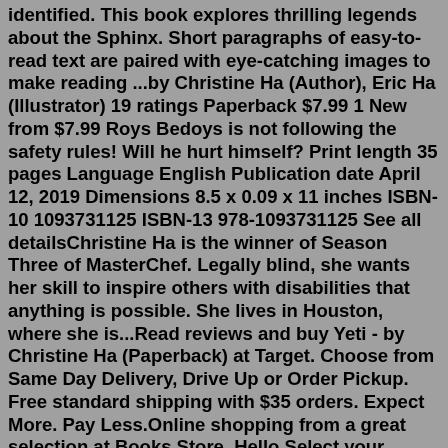identified. This book explores thrilling legends about the Sphinx. Short paragraphs of easy-to-read text are paired with eye-catching images to make reading ...by Christine Ha (Author), Eric Ha (Illustrator) 19 ratings Paperback $7.99 1 New from $7.99 Roys Bedoys is not following the safety rules! Will he hurt himself? Print length 35 pages Language English Publication date April 12, 2019 Dimensions 8.5 x 0.09 x 11 inches ISBN-10 1093731125 ISBN-13 978-1093731125 See all detailsChristine Ha is the winner of Season Three of MasterChef. Legally blind, she wants her skill to inspire others with disabilities that anything is possible. She lives in Houston, where she is...Read reviews and buy Yeti - by Christine Ha (Paperback) at Target. Choose from Same Day Delivery, Drive Up or Order Pickup. Free standard shipping with $35 orders. Expect More. Pay Less.Online shopping from a great selection at Books Store. Hello Select your address About Recipes from My Home Kitchen. Easy Vietnamese comfort food